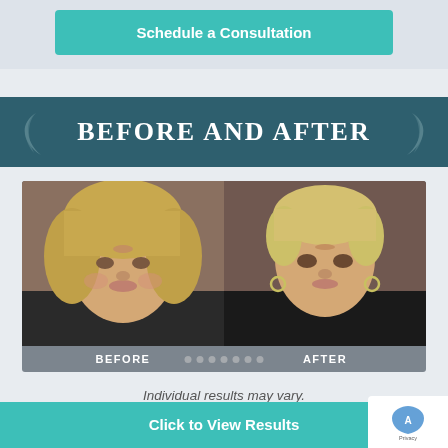Schedule a Consultation
Before and After
[Figure (photo): Before and after side-by-side facial photos of a woman. Left side shows 'Before' with longer blonde hair and slightly fuller face. Right side shows 'After' with shorter hair and more defined facial features. Labels 'BEFORE' and 'AFTER' appear at the bottom of each image with navigation dots between them.]
Individual results may vary.
Click to View Results